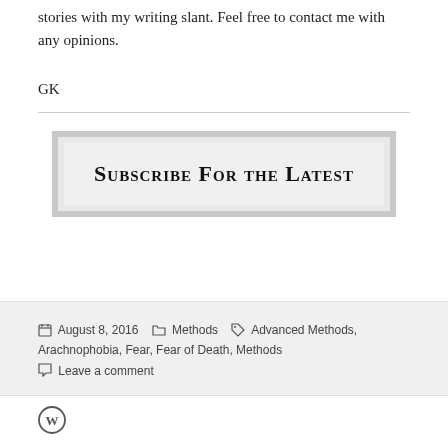stories with my writing slant. Feel free to contact me with any opinions.
GK
[Figure (other): Subscribe For the Latest button/banner with gray border]
August 8, 2016   Methods   Advanced Methods, Arachnophobia, Fear, Fear of Death, Methods
Leave a comment
[Figure (logo): WordPress logo circle icon]